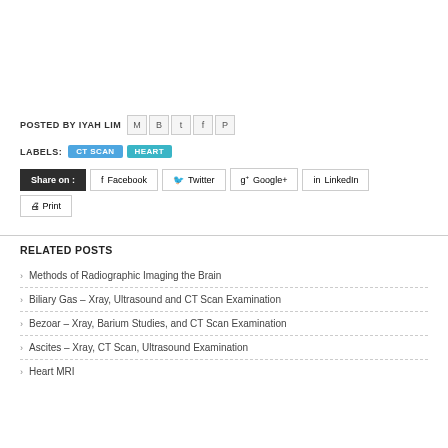POSTED BY IYAH LIM
LABELS: CT SCAN HEART
Share on : Facebook Twitter Google+ LinkedIn Print
RELATED POSTS
Methods of Radiographic Imaging the Brain
Biliary Gas – Xray, Ultrasound and CT Scan Examination
Bezoar – Xray, Barium Studies, and CT Scan Examination
Ascites – Xray, CT Scan, Ultrasound Examination
Heart MRI